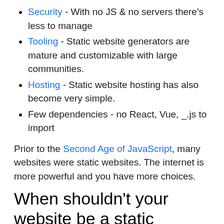Security - With no JS & no servers there's less to manage
Tooling - Static website generators are mature and customizable with large communities.
Hosting - Static website hosting has also become very simple.
Few dependencies - no React, Vue, _.js to import
Prior to the Second Age of JavaScript, many websites were static websites. The internet is more powerful and you have more choices.
When shouldn’t your website be a static website?
If your website will have data that changes dynamically, like Facebook.com or Office.com, your website probably